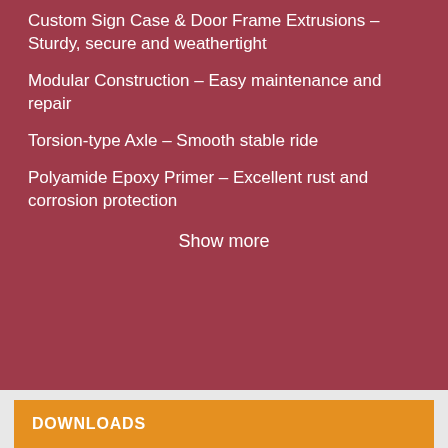Custom Sign Case & Door Frame Extrusions – Sturdy, secure and weathertight
Modular Construction – Easy maintenance and repair
Torsion-type Axle – Smooth stable ride
Polyamide Epoxy Primer – Excellent rust and corrosion protection
Show more
DOWNLOADS
This website uses cookies to improve your experience. We'll
Call Now
Email Us